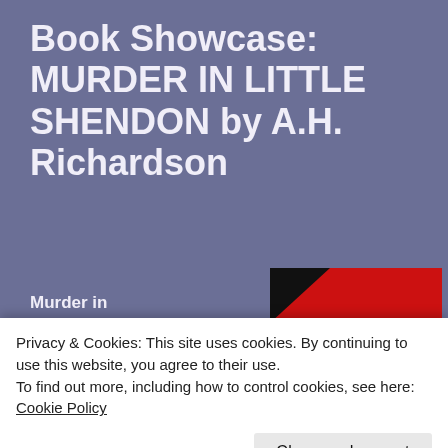Book Showcase: MURDER IN LITTLE SHENDON by A.H. Richardson
Murder in Little Shendon by A.H. Richardson
[Figure (photo): Book cover of 'Murder in Little Shendon' — red background with black ink splash design and the title text in black serif font reading 'MURDER IN LITTLE SHENDON']
Privacy & Cookies: This site uses cookies. By continuing to use this website, you agree to their use.
To find out more, including how to control cookies, see here: Cookie Policy
Close and accept